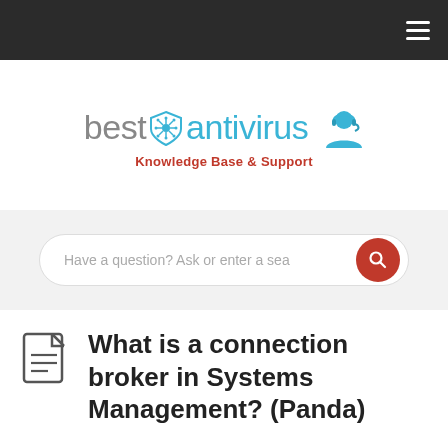[Figure (logo): bestantivirus Knowledge Base & Support logo with shield icon and headset graphic]
Have a question? Ask or enter a sea
What is a connection broker in Systems Management? (Panda)